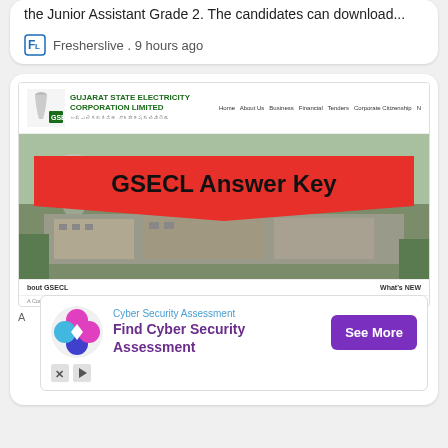the Junior Assistant Grade 2. The candidates can download...
Fresherslive . 9 hours ago
[Figure (screenshot): Screenshot of GSECL (Gujarat State Electricity Corporation Limited) website showing a banner image with 'GSECL Answer Key' text on a red ribbon overlay, with navigation links (Home, About Us, Business, Financial, Tenders, Corporate Citizenship) and footer sections showing 'bout GSECL' and 'What's NEW']
[Figure (infographic): Advertisement banner for Cyber Security Assessment with purple diamond logo and 'Find Cyber Security Assessment' text with a 'See More' button]